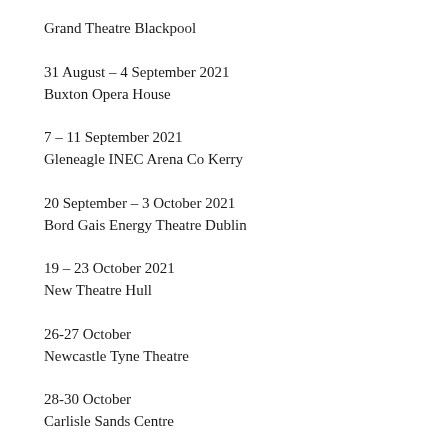Grand Theatre Blackpool
31 August – 4 September 2021
Buxton Opera House
7 – 11 September 2021
Gleneagle INEC Arena Co Kerry
20 September – 3 October 2021
Bord Gais Energy Theatre Dublin
19 – 23 October 2021
New Theatre Hull
26-27 October
Newcastle Tyne Theatre
28-30 October
Carlisle Sands Centre
2-6 November